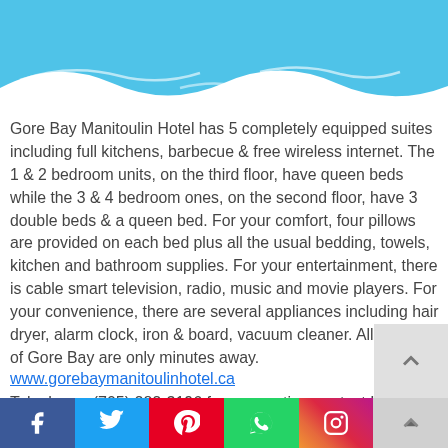[Figure (illustration): Blue wave header with white wave shapes on a sky-blue background]
Gore Bay Manitoulin Hotel has 5 completely equipped suites including full kitchens, barbecue & free wireless internet. The 1 & 2 bedroom units, on the third floor, have queen beds while the 3 & 4 bedroom ones, on the second floor, have 3 double beds & a queen bed. For your comfort, four pillows are provided on each bed plus all the usual bedding, towels, kitchen and bathroom supplies. For your entertainment, there is cable smart television, radio, music and movie players. For your convenience, there are several appliances including hair dryer, alarm clock, iron & board, vacuum cleaner. All services of Gore Bay are only minutes away.
www.gorebaymanitoulinhotel.ca
Telephone: (705) 282-3196 for reservations or text Ho
[Figure (infographic): Social media share bar with Facebook, Twitter, Pinterest, WhatsApp, and Instagram icons, plus a scroll-up button]